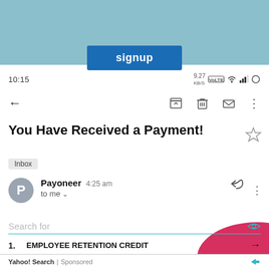[Figure (screenshot): Light blue banner at top of mobile screen]
signup
10:15   9.27 KB/s  VoLTE  WiFi  Signal  Battery
[Figure (screenshot): Toolbar with back arrow, archive, delete, email, and more options icons]
You Have Received a Payment!
Inbox
Payoneer  4:25 am
to me
Search for
1.  EMPLOYEE RETENTION CREDIT  →
2.  JOBS FOR OLDER WORKERS  →
Yahoo! Search | Sponsored